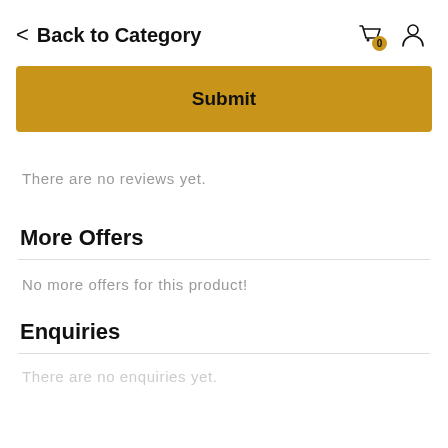Back to Category
Submit
There are no reviews yet.
More Offers
No more offers for this product!
Enquiries
There are no enquiries yet.